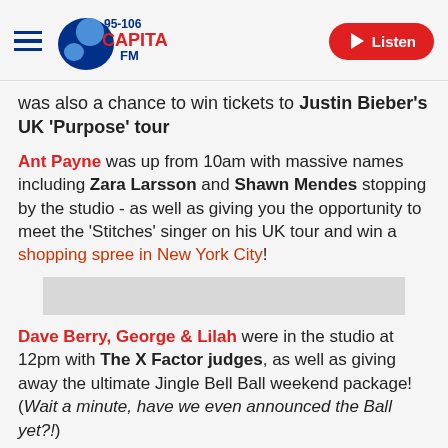Capital FM 95-106 | Listen
was also a chance to win tickets to Justin Bieber's UK 'Purpose' tour
Ant Payne was up from 10am with massive names including Zara Larsson and Shawn Mendes stopping by the studio - as well as giving you the opportunity to meet the 'Stitches' singer on his UK tour and win a shopping spree in New York City!
[Figure (other): Grey advertisement placeholder banner]
Dave Berry, George & Lilah were in the studio at 12pm with The X Factor judges, as well as giving away the ultimate Jingle Bell Ball weekend package! (Wait a minute, have we even announced the Ball yet?!)
The Bassman & Roman Kemp took you through the rest of the afternoon with the always LOUDLY dressed Olly